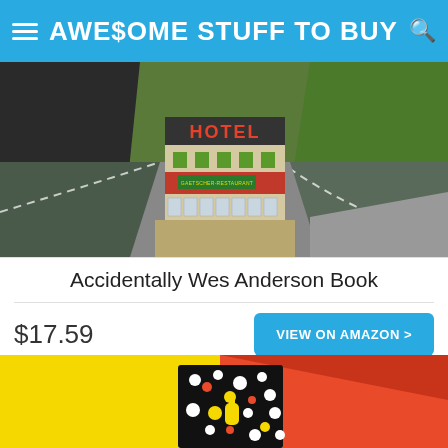AWE$OME STUFF TO BUY
[Figure (photo): Aerial view of a mountain hotel building with red facade and green shutters, labeled HOTEL, surrounded by winding mountain roads and green slopes.]
Accidentally Wes Anderson Book
$17.59
VIEW ON AMAZON >
[Figure (photo): Colorful product image with yellow, red and orange background with a black book showing colorful dot pattern and a yellow ketchup bottle design.]